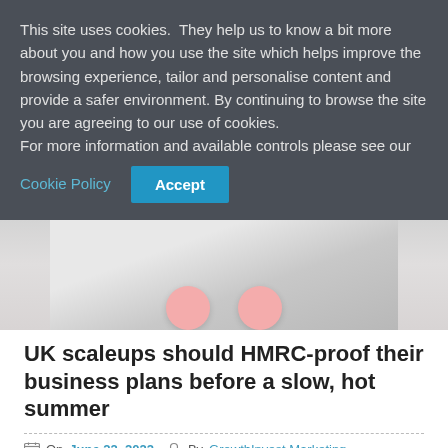This site uses cookies.  They help us to know a bit more about you and how you use the site which helps improve the browsing experience, tailor and personalise content and provide a safer environment. By continuing to browse the site you are agreeing to our use of cookies. For more information and available controls please see our Cookie Policy
Accept
[Figure (photo): Close-up photo of pink pill/tablet shapes on a light grey/white surface]
UK scaleups should HMRC-proof their business plans before a slow, hot summer
On June 22, 2022  By GrowthInvest Marketing